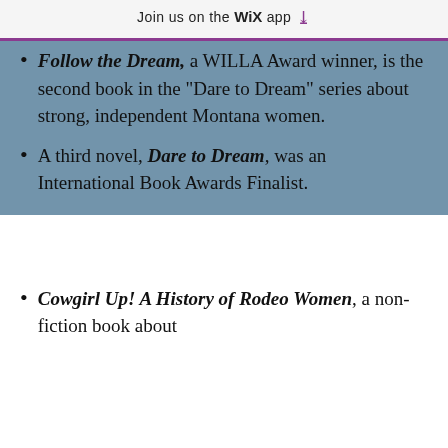Join us on the WiX app
Follow the Dream, a WILLA Award winner, is the second book in the "Dare to Dream" series about strong, independent Montana women.
A third novel, Dare to Dream, was an International Book Awards Finalist.
Cowgirl Up! A History of Rodeo Women, a non-fiction book about